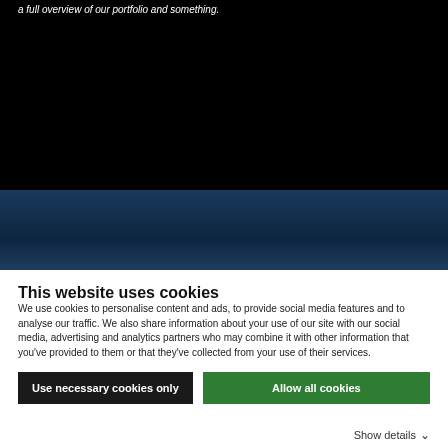[Figure (screenshot): Black background area representing a video or image placeholder with white italic text at top reading partial sentence about portfolio and something.]
a full overview of our portfolio and something.
[Figure (illustration): Dark navy blue gradient band below the black area.]
This website uses cookies
We use cookies to personalise content and ads, to provide social media features and to analyse our traffic. We also share information about your use of our site with our social media, advertising and analytics partners who may combine it with other information that you've provided to them or that they've collected from your use of their services.
Use necessary cookies only
Allow all cookies
Show details